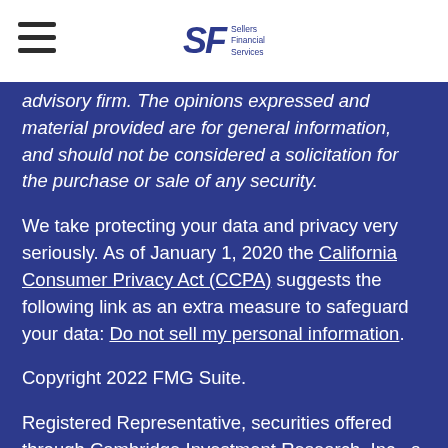SF Sellers Financial Services
advisory firm. The opinions expressed and material provided are for general information, and should not be considered a solicitation for the purchase or sale of any security.
We take protecting your data and privacy very seriously. As of January 1, 2020 the California Consumer Privacy Act (CCPA) suggests the following link as an extra measure to safeguard your data: Do not sell my personal information.
Copyright 2022 FMG Suite.
Registered Representative, securities offered through Cambridge Investment Research, Inc., a Broker/Dealer, member FINRA & SIPC. Advisory Services offered through Cambridge...